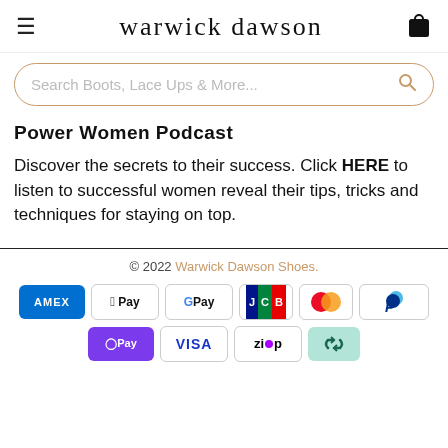warwick dawson
Search Boots, Lace Ups & More...
Power Women Podcast
Discover the secrets to their success. Click HERE to listen to successful women reveal their tips, tricks and techniques for staying on top.
© 2022 Warwick Dawson Shoes.
[Figure (other): Payment method icons: American Express, Apple Pay, Google Pay, JCB, Mastercard, PayPal, OPay, Visa, Zip, Afterpay]